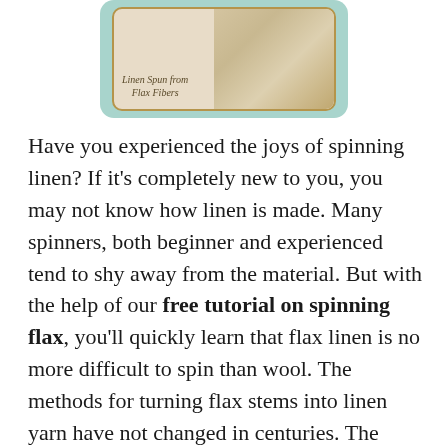[Figure (photo): A framed image with teal/green rounded border showing linen fabric (beige woven textile) with an italic caption overlay reading 'Linen Spun from Flax Fibers']
Linen Spun from Flax Fibers
Have you experienced the joys of spinning linen? If it's completely new to you, you may not know how linen is made. Many spinners, both beginner and experienced tend to shy away from the material. But with the help of our free tutorial on spinning flax, you'll quickly learn that flax linen is no more difficult to spin than wool. The methods for turning flax stems into linen yarn have not changed in centuries. The qualities of this fiber make it invaluable still today. Explore the world of possibilities with this refreshing collection of articles and blogs.